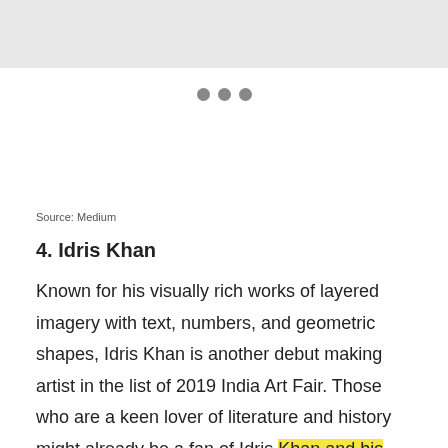[Figure (other): Gray top bar with three gray dots (loading indicator)]
Source: Medium
4. Idris Khan
Known for his visually rich works of layered imagery with text, numbers, and geometric shapes, Idris Khan is another debut making artist in the list of 2019 India Art Fair. Those who are a keen lover of literature and history might already be a fan of Idris Khan and his work.